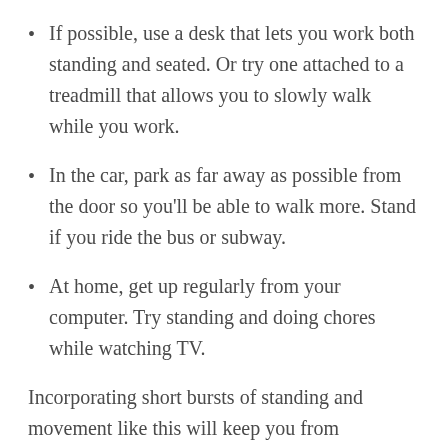If possible, use a desk that lets you work both standing and seated. Or try one attached to a treadmill that allows you to slowly walk while you work.
In the car, park as far away as possible from the door so you'll be able to walk more. Stand if you ride the bus or subway.
At home, get up regularly from your computer. Try standing and doing chores while watching TV.
Incorporating short bursts of standing and movement like this will keep you from becoming an “active couch potato” – someone who exercises and then remains largely sedentary the rest of the time.
By thinking of fitness as something that entails what you do the entire day – not just the relatively few